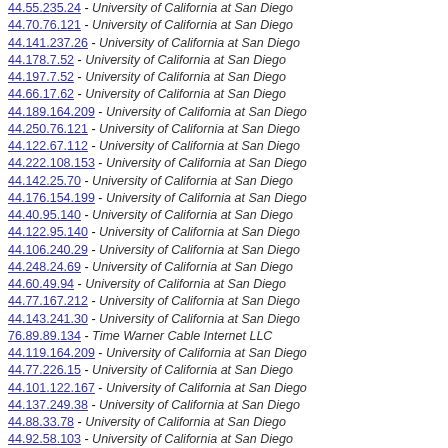44.55.235.24 - University of California at San Diego
44.70.76.121 - University of California at San Diego
44.141.237.26 - University of California at San Diego
44.178.7.52 - University of California at San Diego
44.197.7.52 - University of California at San Diego
44.66.17.62 - University of California at San Diego
44.189.164.209 - University of California at San Diego
44.250.76.121 - University of California at San Diego
44.122.67.112 - University of California at San Diego
44.222.108.153 - University of California at San Diego
44.142.25.70 - University of California at San Diego
44.176.154.199 - University of California at San Diego
44.40.95.140 - University of California at San Diego
44.122.95.140 - University of California at San Diego
44.106.240.29 - University of California at San Diego
44.248.24.69 - University of California at San Diego
44.60.49.94 - University of California at San Diego
44.77.167.212 - University of California at San Diego
44.143.241.30 - University of California at San Diego
76.89.89.134 - Time Warner Cable Internet LLC
44.119.164.209 - University of California at San Diego
44.77.226.15 - University of California at San Diego
44.101.122.167 - University of California at San Diego
44.137.249.38 - University of California at San Diego
44.88.33.78 - University of California at San Diego
44.92.58.103 - University of California at San Diego
44.255.124.169 - University of California at San Diego
44.225.67.112 - University of California at San Diego
44.225.65.110 - University of California at San Diego
44.122.84.129 - University of California at San Diego